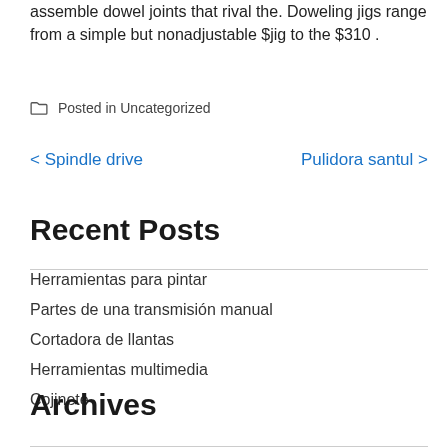assemble dowel joints that rival the. Doweling jigs range from a simple but nonadjustable $jig to the $310 .
Posted in Uncategorized
< Spindle drive   Pulidora santul >
Recent Posts
Herramientas para pintar
Partes de una transmisión manual
Cortadora de llantas
Herramientas multimedia
Cojinete
Archives